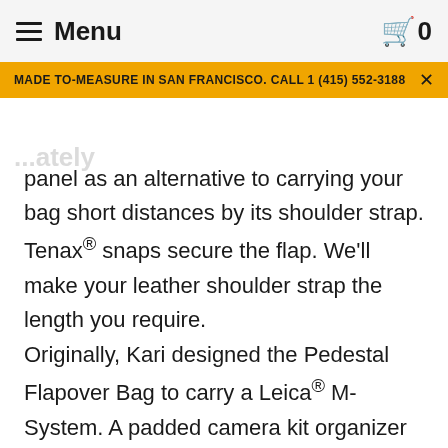Menu  0
MADE TO-MEASURE IN SAN FRANCISCO. CALL 1 (415) 552-3188
panel as an alternative to carrying your bag short distances by its shoulder strap. Tenax® snaps secure the flap. We'll make your leather shoulder strap the length you require.

Originally, Kari designed the Pedestal Flapover Bag to carry a Leica® M-System. A padded camera kit organizer is optionally